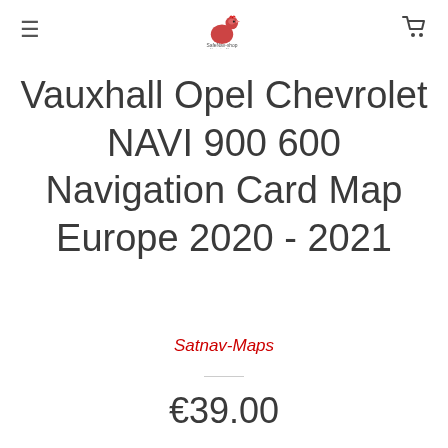≡  SafeNavShop  🛒
Vauxhall Opel Chevrolet NAVI 900 600 Navigation Card Map Europe 2020 - 2021
Satnav-Maps
€39.00